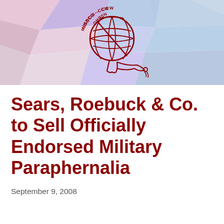[Figure (logo): NISBCO-CCW / NSBRO organization logo: a dark red globe with grid lines, held by a hand with a ribbon/torch, encircled by the text 'NISBCO-CCW' and 'NSBRO', on a colorful polygonal pastel background]
Sears, Roebuck & Co. to Sell Officially Endorsed Military Paraphernalia
September 9, 2008